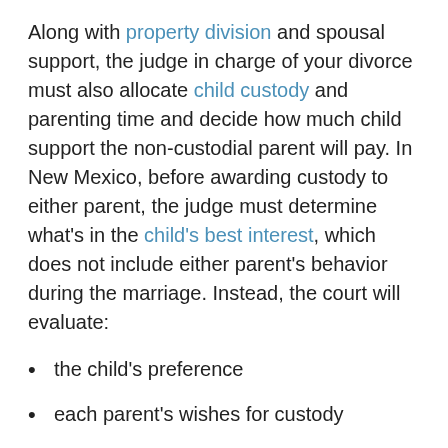Along with property division and spousal support, the judge in charge of your divorce must also allocate child custody and parenting time and decide how much child support the non-custodial parent will pay. In New Mexico, before awarding custody to either parent, the judge must determine what's in the child's best interest, which does not include either parent's behavior during the marriage. Instead, the court will evaluate:
the child's preference
each parent's wishes for custody
the child's relationship with each parent
the child's school, home, and community record, and